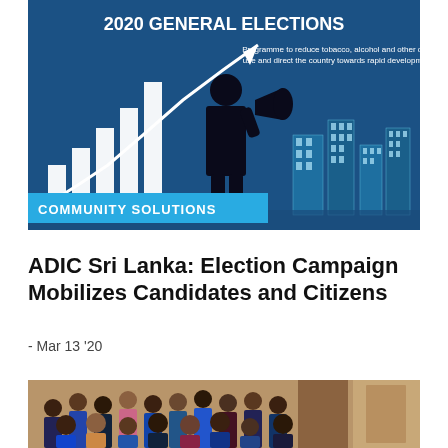[Figure (illustration): 2020 General Elections infographic with dark blue background. Shows a silhouetted figure holding a megaphone with bar chart and arrow rising behind them, city skyline in background. Text reads '2020 GENERAL ELECTIONS' in large bold letters at top. Sub-text: 'Programme to reduce tobacco, alcohol and other drug use and direct the country towards rapid development'. Cyan 'COMMUNITY SOLUTIONS' banner overlaid at lower portion.]
ADIC Sri Lanka: Election Campaign Mobilizes Candidates and Citizens
- Mar 13 '20
[Figure (photo): Group photo of a large crowd of young people (students/community members), roughly 40+ individuals, standing and posing together indoors. Warm wooden background visible.]